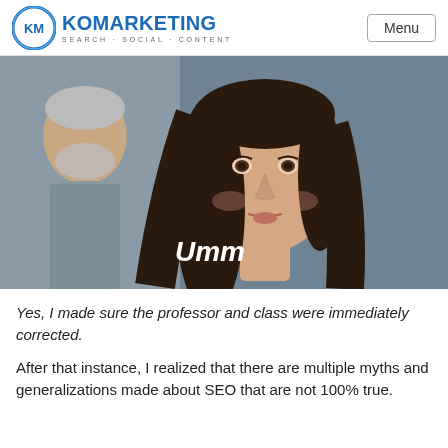KO MARKETING SEARCH·SOCIAL·CONTENT
[Figure (photo): A woman with dark hair looking upward with a surprised/puzzled expression, with an older man blurred in the background. White subtitle text reads 'Umm' overlaid on the image.]
Yes, I made sure the professor and class were immediately corrected.
After that instance, I realized that there are multiple myths and generalizations made about SEO that are not 100% true.